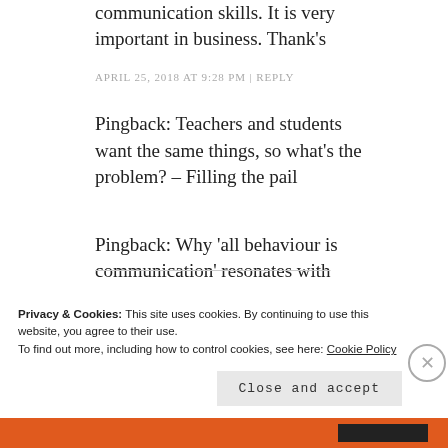communication skills. It is very important in business. Thank's
APRIL 25, 2018 AT 9:28 PM | REPLY
Pingback: Teachers and students want the same things, so what's the problem? – Filling the pail
Pingback: Why 'all behaviour is communication' resonates with
Privacy & Cookies: This site uses cookies. By continuing to use this website, you agree to their use.
To find out more, including how to control cookies, see here: Cookie Policy
Close and accept